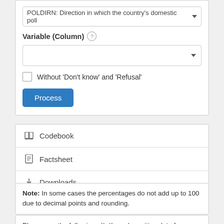POLDIRN: Direction in which the country's domestic poll ▾
Variable (Column) ℹ
Without 'Don't know' and 'Refusal'
Process
📚 Codebook
📄 Factsheet
⬇ Downloads
Note: In some cases the percentages do not add up to 100 due to decimal points and rounding.
Please use the following citation when citing data from QDA: